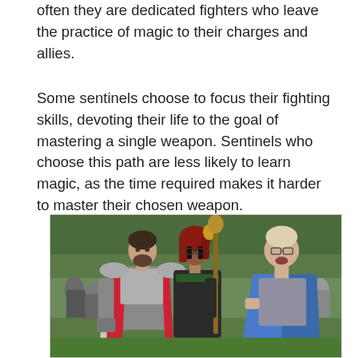often they are dedicated fighters who leave the practice of magic to their charges and allies.
Some sentinels choose to focus their fighting skills, devoting their life to the goal of mastering a single weapon. Sentinels who choose this path are less likely to learn magic, as the time required makes it harder to master their chosen weapon.
[Figure (photo): Three people in fantasy LARP costumes outdoors. Left person wears silver and red plate armor with a cape, center person wears dark leather armor with a red-haired wig and holds a staff, right person wears a blue cloak. Background shows trees and other participants.]